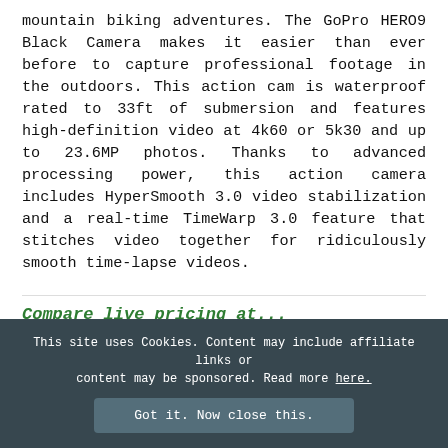mountain biking adventures. The GoPro HERO9 Black Camera makes it easier than ever before to capture professional footage in the outdoors. This action cam is waterproof rated to 33ft of submersion and features high-definition video at 4k60 or 5k30 and up to 23.6MP photos. Thanks to advanced processing power, this action camera includes HyperSmooth 3.0 video stabilization and a real-time TimeWarp 3.0 feature that stitches video together for ridiculously smooth time-lapse videos.
Compare live pricing at...
REI | Moosejaw | Amazon
This site uses Cookies. Content may include affiliate links or content may be sponsored. Read more here.
Got it. Now close this.